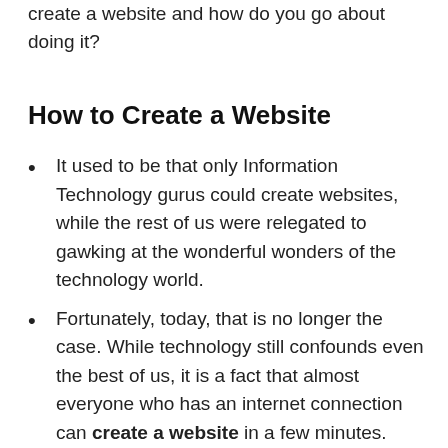create a website and how do you go about doing it?
How to Create a Website
It used to be that only Information Technology gurus could create websites, while the rest of us were relegated to gawking at the wonderful wonders of the technology world.
Fortunately, today, that is no longer the case. While technology still confounds even the best of us, it is a fact that almost everyone who has an internet connection can create a website in a few minutes. Here is how you create a website in a few easy steps;
...